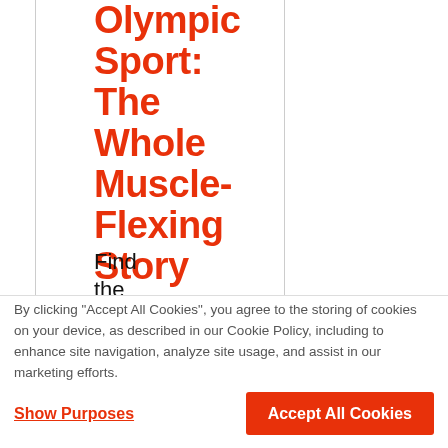Olympic Sport: The Whole Muscle-Flexing Story
Find the
By clicking “Accept All Cookies”, you agree to the storing of cookies on your device, as described in our Cookie Policy, including to enhance site navigation, analyze site usage, and assist in our marketing efforts.
Show Purposes
Accept All Cookies